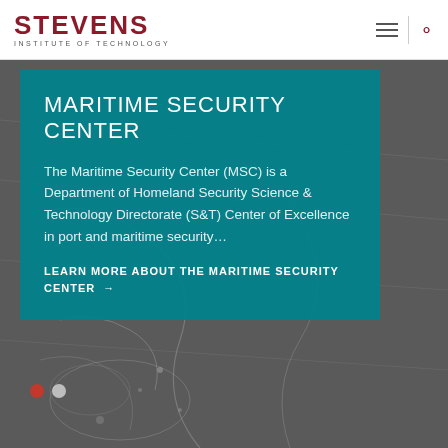STEVENS INSTITUTE OF TECHNOLOGY
MARITIME SECURITY CENTER
The Maritime Security Center (MSC) is a Department of Homeland Security Science & Technology Directorate (S&T) Center of Excellence in port and maritime security…
LEARN MORE ABOUT THE MARITIME SECURITY CENTER →
[Figure (screenshot): Maritime map background showing nautical chart lines and harbor details in dark gray tones]